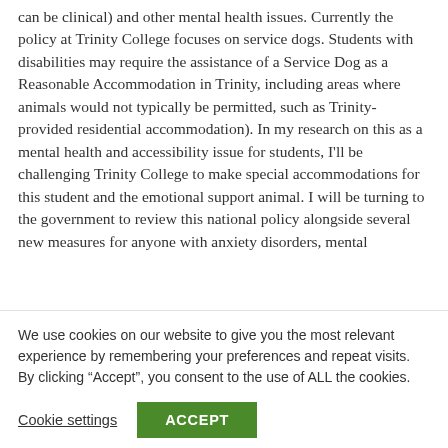can be clinical) and other mental health issues. Currently the policy at Trinity College focuses on service dogs. Students with disabilities may require the assistance of a Service Dog as a Reasonable Accommodation in Trinity, including areas where animals would not typically be permitted, such as Trinity-provided residential accommodation). In my research on this as a mental health and accessibility issue for students, I'll be challenging Trinity College to make special accommodations for this student and the emotional support animal. I will be turning to the government to review this national policy alongside several new measures for anyone with anxiety disorders, mental
We use cookies on our website to give you the most relevant experience by remembering your preferences and repeat visits. By clicking “Accept”, you consent to the use of ALL the cookies.
Cookie settings | ACCEPT